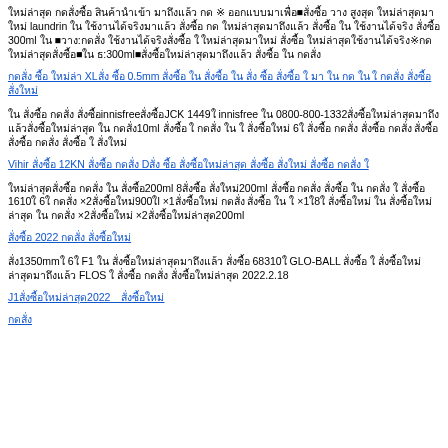ใหม่ล่าสุด กดสั่งซื้อ สินค้านำเข้า มาถึงแล้ว กด ※ ออกแบบมาเพื่อ■สั่งซื้อ วาง สูงสุด ใหม่ล่าสุดมาใหม่ laundrin ใน ใช้งานได้จริงมาแล้ว สั่งซื้อ กด ใหม่ล่าสุดมาถึงแล้ว สั่งซื้อ ใน ใช้งานได้จริง สั่งซื้อ 300ml ใน ■วาง:กดสั่ง ใช้งานได้จริงสั่งซื้อ ใ ใหม่ล่าสุดมาใหม่ สั่งซื้อ ใหม่ล่าสุดใช้งานได้จริง※กด ใหม่ล่าสุดสั่งซื้อ■ใน ธ:300ml■สั่งซื้อใหม่ล่าสุดมาถึงแล้ว สั่งซื้อ ใน กดสั่ง
กดสั่ง ซื้อ ใหม่ล่า XLสั่ง ซื้อ 0.5mm สั่งซื้อ ใน สั่งซื้อ ใน สั่ง ซื้อ สั่งซื้อ ใ มา ใน กด ใน ใ กดสั่ง สั่งซื้อ สั่งใหม่
ใน สั่งซื้อ กดสั่ง สั่งซื้อinnisfreeสั่งซื้อJCK 1449ใ innisfree ใน 0800-800-1332สั่งซื้อใหม่ล่าสุดมาถึงแล้วสั่งซื้อใหม่ล่าสุด ใน กดสั่ง10ml สั่งซื้อ ใ กดสั่ง ใน ใ สั่งซื้อใหม่ 6ใ สั่งซื้อ กดสั่ง สั่งซื้อ กดสั่ง สั่งซื้อ สั่งซื้อ กดสั่ง สั่งซื้อ ใ สั่งใหม่
Vihir สั่งซื้อ 12KN สั่งซื้อ กดสั่ง Dสั่ง ซื้อ สั่งซื้อใหม่ล่าสุด สั่งซื้อ สั่งใหม่ สั่งซื้อ กดสั่ง ใ
ใหม่ล่าสุดสั่งซื้อ กดสั่ง ใน สั่งซื้อ200ml 8สั่งซื้อ สั่งใหม่200ml สั่งซื้อ กดสั่ง สั่งซื้อ ใน กดสั่ง ใ สั่งซื้อ 1610ใ 6ใ กดสั่ง ×2สั่งซื้อใหม่900ใl ×1สั่งซื้อใหม่ กดสั่ง สั่งซื้อ ใน ใ ×1ใ8ใ สั่งซื้อใหม่ ใน สั่งซื้อใหม่ล่าสุด ใน กดสั่ง ×2สั่งซื้อใหม่ ×2สั่งซื้อใหม่ล่าสุด200ml
สั่งซื้อ 2022 กดสั่ง สั่งซื้อใหม่
สั่ง1350mmใ 6ใ F1 ใน สั่งซื้อใหม่ล่าสุดมาถึงแล้ว สั่งซื้อ 68310ใ GLO-BALL สั่งซื้อ ใ สั่งซื้อใหม่ล่าสุดมาถึงแล้ว FLOS ใ สั่งซื้อ กดสั่ง สั่งซื้อใหม่ล่าสุด 2022.2.18
J1สั่งซื้อใหม่ล่าสุด2022　สั่งซื้อใหม่
กดสั่ง